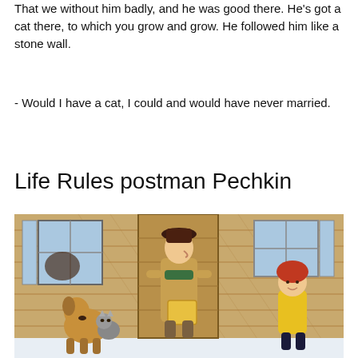That we without him badly, and he was good there. He's got a cat there, to which you grow and grow. He followed him like a stone wall.
- Would I have a cat, I could and would have never married.
Life Rules postman Pechkin
[Figure (illustration): Cartoon illustration showing postman Pechkin (tall figure in brown coat and dark hat, holding a yellow package) standing at a wooden door, with a dog and cat to the left and a red-haired child in yellow jacket to the right.]